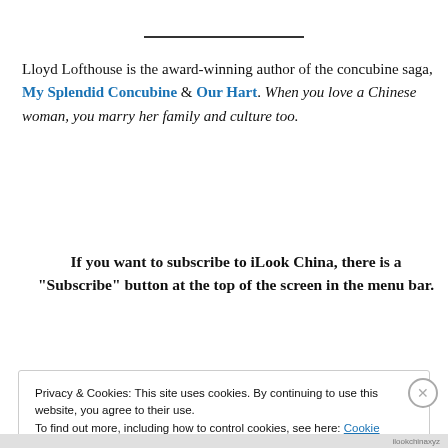Lloyd Lofthouse is the award-winning author of the concubine saga, My Splendid Concubine & Our Hart. When you love a Chinese woman, you marry her family and culture too.
If you want to subscribe to iLook China, there is a “Subscribe” button at the top of the screen in the menu bar.
Privacy & Cookies: This site uses cookies. By continuing to use this website, you agree to their use. To find out more, including how to control cookies, see here: Cookie Policy